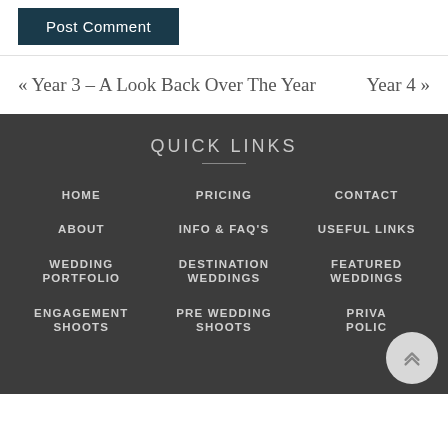Post Comment
« Year 3 – A Look Back Over The Year    Year 4 »
QUICK LINKS
HOME
PRICING
CONTACT
ABOUT
INFO & FAQ'S
USEFUL LINKS
WEDDING PORTFOLIO
DESTINATION WEDDINGS
FEATURED WEDDINGS
ENGAGEMENT SHOOTS
PRE WEDDING SHOOTS
PRIVACY POLICY